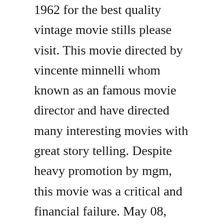1962 for the best quality vintage movie stills please visit. This movie directed by vincente minnelli whom known as an famous movie director and have directed many interesting movies with great story telling. Despite heavy promotion by mgm, this movie was a critical and financial failure. May 08, 2016 scenes of the four horsemen of the apocalypse 1962 for the best quality vintage movie stills please visit. Four horsemen of the apocalypse disambiguation wikipedia. From ibanez immortal classic, metrogoldwynmayer presents an unforgettable motion picture.